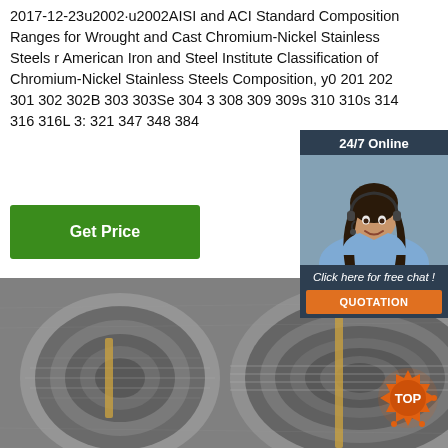2017-12-23  AISI and ACI Standard Composition Ranges for Wrought and Cast Chromium-Nickel Stainless Steels r American Iron and Steel Institute Classification of Chromium-Nickel Stainless Steels Composition, y0 201 202 301 302 302B 303 303Se 304 3 308 309 309s 310 310s 314 316 316L 3: 321 347 348 384
[Figure (screenshot): Green Get Price button]
[Figure (infographic): 24/7 Online chat widget with agent photo, 'Click here for free chat!' text and orange QUOTATION button]
[Figure (photo): Coils of stainless steel wire rod stacked together]
[Figure (logo): Orange TOP badge/logo in bottom right corner]